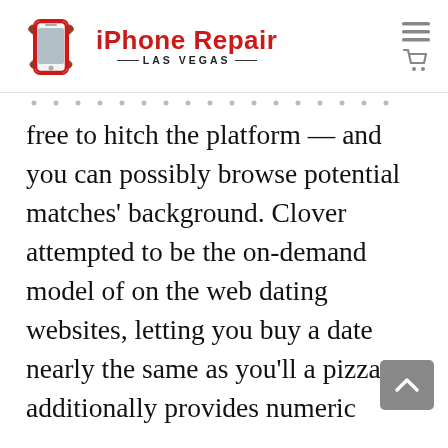[Figure (logo): iPhone Repair Las Vegas logo with a smartphone and crossed wrenches icon in red/brown, and the text 'iPhone Repair' in bold red with 'LAS VEGAS' in small caps below]
free to hitch the platform — and you can possibly browse potential matches' background. Clover attempted to be the on-demand model of on the web dating websites, letting you buy a date nearly the same as you'll a pizza. It additionally provides numeric match predictions dependent on compatibility and things